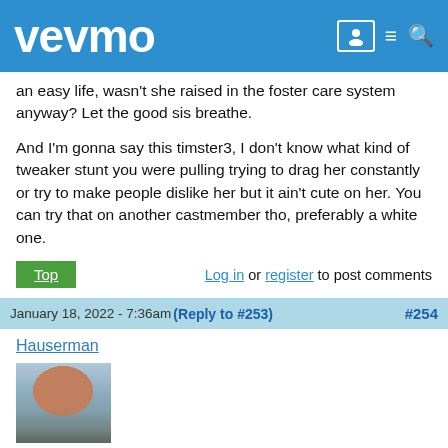vevmo
an easy life, wasn't she raised in the foster care system anyway? Let the good sis breathe.

And I'm gonna say this timster3, I don't know what kind of tweaker stunt you were pulling trying to drag her constantly or try to make people dislike her but it ain't cute on her. You can try that on another castmember tho, preferably a white one.
Top | Log in or register to post comments
January 18, 2022 - 7:36am (Reply to #253) #254
Hauserman
[Figure (photo): Profile photo of user Hauserman showing a bearded man outdoors]